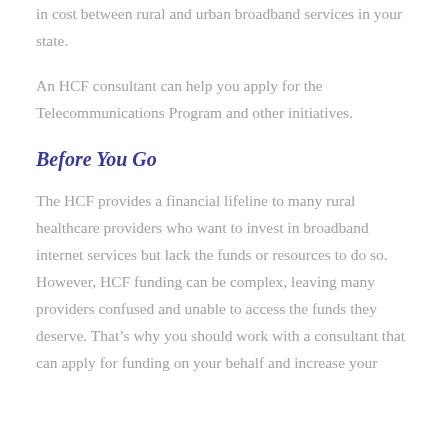in cost between rural and urban broadband services in your state.
An HCF consultant can help you apply for the Telecommunications Program and other initiatives.
Before You Go
The HCF provides a financial lifeline to many rural healthcare providers who want to invest in broadband internet services but lack the funds or resources to do so. However, HCF funding can be complex, leaving many providers confused and unable to access the funds they deserve. That’s why you should work with a consultant that can apply for funding on your behalf and increase your